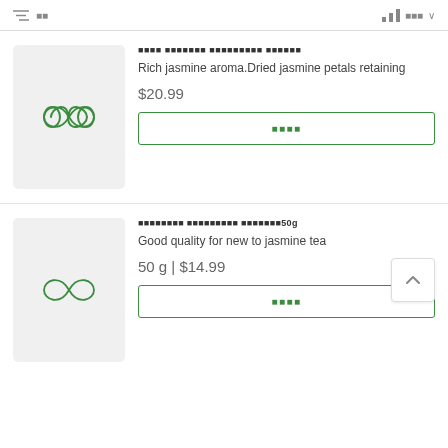filter | sort
[Figure (illustration): Product image placeholder with green infinity-like loop icon on light gray background]
████ ███████ █████████ ██████
Rich jasmine aroma.Dried jasmine petals retaining
$20.99
カートに追加 (Add to cart button)
[Figure (illustration): Product image placeholder with green infinity-like loop icon on light gray background]
████████ █████████ ███████50g
Good quality for new to jasmine tea
50 g | $14.99
カートに追加 (Add to cart button)